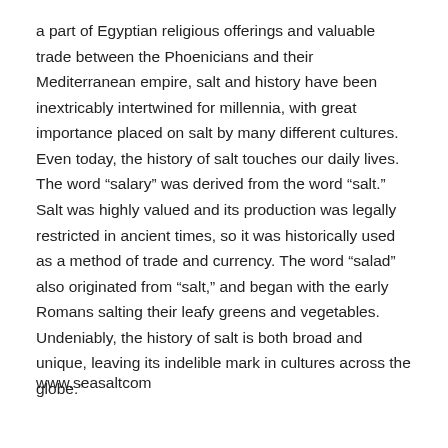a part of Egyptian religious offerings and valuable trade between the Phoenicians and their Mediterranean empire, salt and history have been inextricably intertwined for millennia, with great importance placed on salt by many different cultures. Even today, the history of salt touches our daily lives. The word “salary” was derived from the word “salt.” Salt was highly valued and its production was legally restricted in ancient times, so it was historically used as a method of trade and currency. The word “salad” also originated from “salt,” and began with the early Romans salting their leafy greens and vegetables. Undeniably, the history of salt is both broad and unique, leaving its indelible mark in cultures across the globe.”
www.seasaltcom